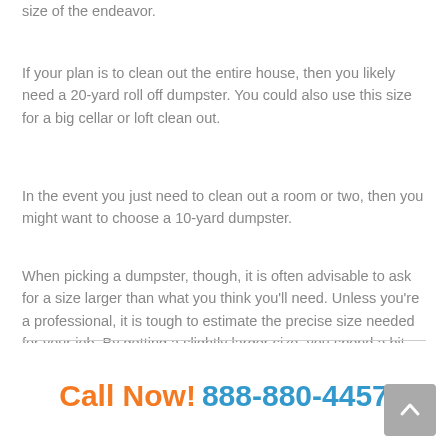size of the endeavor.
If your plan is to clean out the entire house, then you likely need a 20-yard roll off dumpster. You could also use this size for a big cellar or loft clean out.
In the event you just need to clean out a room or two, then you might want to choose a 10-yard dumpster.
When picking a dumpster, though, it is often advisable to ask for a size larger than what you think you'll need. Unless you're a professional, it is tough to estimate the precise size needed for your job. By getting a slightly larger size, you spend a bit more money, but you also prevent the possibility you will run out of room. Renting a larger dumpster is almost always cheaper than renting two little ones.
Call Now! 888-880-4457